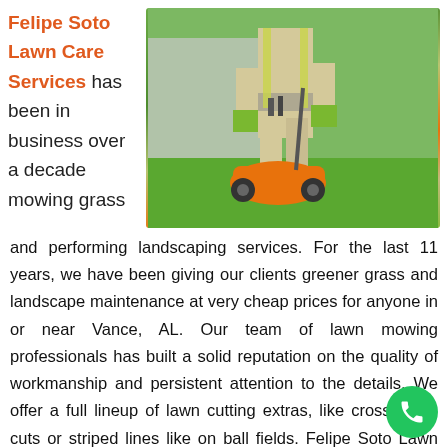Felipe Soto Lawn Care Services has been in business over a decade mowing grass and performing landscaping services. For the last 11 years, we have been giving our clients greener grass and landscape maintenance at very cheap prices for anyone in or near Vance, AL. Our team of lawn mowing professionals has built a solid reputation on the quality of workmanship and persistent attention to the details. We offer a full lineup of lawn cutting extras, like cross hatch cuts or striped lines like on ball fields. Felipe Soto Lawn Services would be honored to handle lawn care work.
[Figure (photo): A lawn care professional standing in front of an orange lawn mower on green grass, wearing beige work clothes and green gloves, holding equipment.]